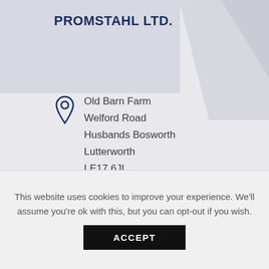PROMSTAHL LTD.
Old Barn Farm
Welford Road
Husbands Bosworth
Lutterworth
LE17 6JL
SHOW ON THE MAP
Company House: 12498642
This website uses cookies to improve your experience. We'll assume you're ok with this, but you can opt-out if you wish.
ACCEPT